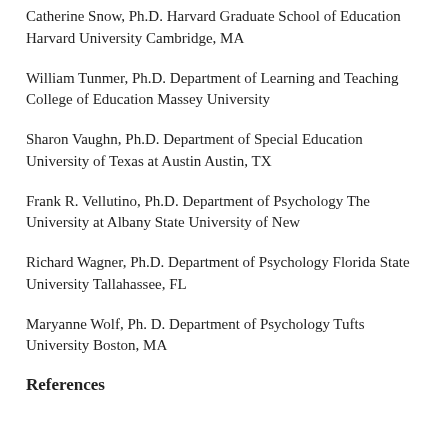Catherine Snow, Ph.D. Harvard Graduate School of Education Harvard University Cambridge, MA
William Tunmer, Ph.D. Department of Learning and Teaching College of Education Massey University
Sharon Vaughn, Ph.D. Department of Special Education University of Texas at Austin Austin, TX
Frank R. Vellutino, Ph.D. Department of Psychology The University at Albany State University of New
Richard Wagner, Ph.D. Department of Psychology Florida State University Tallahassee, FL
Maryanne Wolf, Ph. D. Department of Psychology Tufts University Boston, MA
References